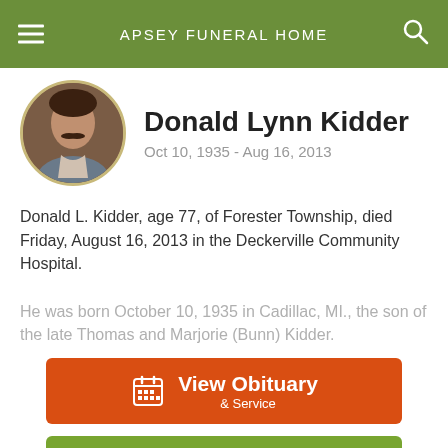APSEY FUNERAL HOME
Donald Lynn Kidder
Oct 10, 1935 - Aug 16, 2013
Donald L. Kidder, age 77, of Forester Township, died Friday, August 16, 2013 in the Deckerville Community Hospital.
He was born October 10, 1935 in Cadillac, MI., the son of the late Thomas and Marjorie (Bunn) Kidder.
View Obituary & Service
Send Flowers
Share